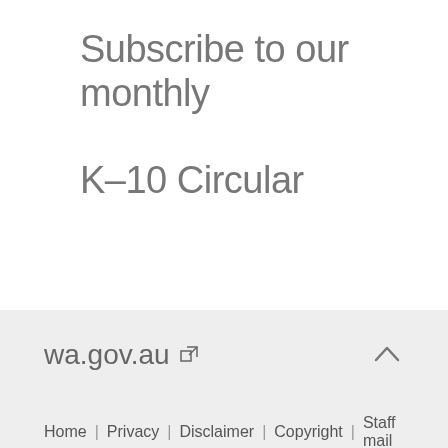Subscribe to our monthly K–10 Circular
[Figure (other): Email subscription input field with placeholder text 'Enter your email address' and a green send button with paper plane icon]
wa.gov.au ↗
Home | Privacy | Disclaimer | Copyright | Staff mail